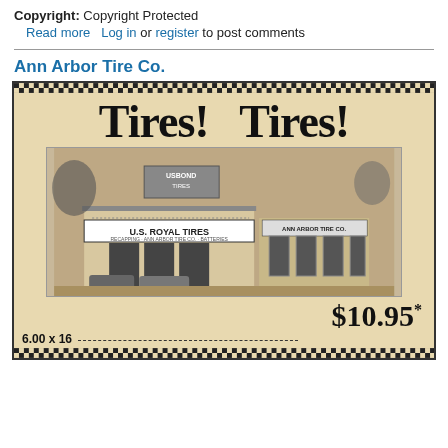Copyright: Copyright Protected
Read more  Log in or register to post comments
Ann Arbor Tire Co.
[Figure (photo): Vintage newspaper advertisement for Ann Arbor Tire Co. showing a storefront with U.S. Royal Tires signage, large text 'Tires! Tires!' at the top, a price of $10.95* and size 6.00 x 16 at the bottom. The ad has a checkerboard border pattern.]